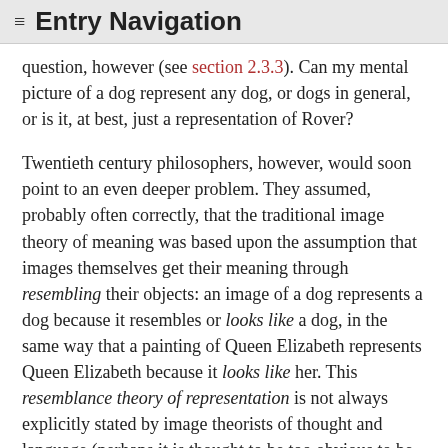≡ Entry Navigation
question, however (see section 2.3.3). Can my mental picture of a dog represent any dog, or dogs in general, or is it, at best, just a representation of Rover?
Twentieth century philosophers, however, would soon point to an even deeper problem. They assumed, probably often correctly, that the traditional image theory of meaning was based upon the assumption that images themselves get their meaning through resembling their objects: an image of a dog represents a dog because it resembles or looks like a dog, in the same way that a painting of Queen Elizabeth represents Queen Elizabeth because it looks like her. This resemblance theory of representation is not always explicitly stated by image theorists of thought and language (perhaps it is thought to be too obvious to be worth saying, or perhaps not all of them are really committed to it), but Russell (1919,1921), for one, explicitly takes the view that words represent because they are associated with mental images, and that the images themselves represent because they resemble their objects.